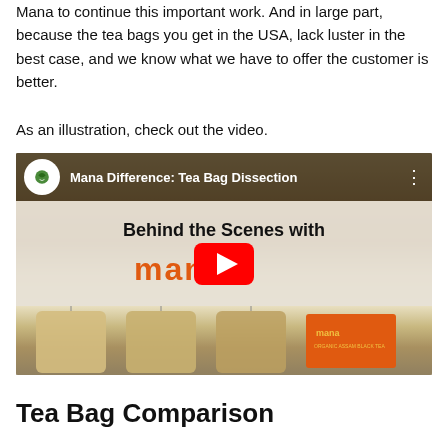Mana to continue this important work. And in large part, because the tea bags you get in the USA, lack luster in the best case, and we know what we have to offer the customer is better.
As an illustration, check out the video.
[Figure (screenshot): Embedded YouTube video thumbnail titled 'Mana Difference: Tea Bag Dissection' showing 'Behind the Scenes with Mana' text and tea bags with a Mana Organic Assam Black Tea box, with a YouTube play button overlay.]
Tea Bag Comparison